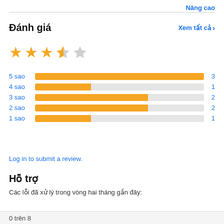Nâng cao
Đánh giá
Xem tất cả ›
[Figure (other): 3.5 out of 5 stars rating — three full stars, one half star, one empty star in yellow/grey]
[Figure (bar-chart): Rating distribution]
Log in to submit a review.
Hỗ trợ
Các lỗi đã xử lý trong vòng hai tháng gần đây:
0 trên 8